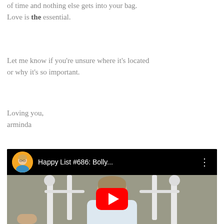of time and nothing else gets into your bag. Love is the essential.
Let me know if you're unsure where it's located or why it's so important.
Loving you,
arminda
[Figure (screenshot): YouTube video thumbnail showing 'Happy List #686: Bolly...' with a woman sitting in a white rocking chair outdoors, with a large red YouTube play button overlay. Channel avatar shows a blonde woman in a blue top.]